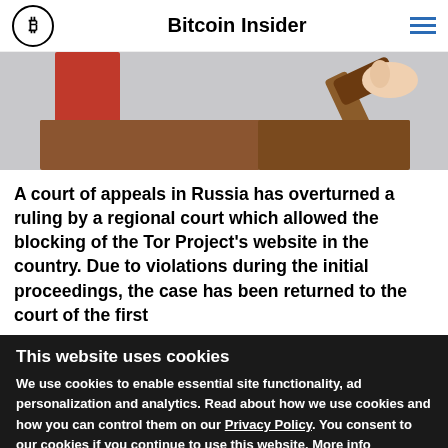Bitcoin Insider
[Figure (photo): Close-up photo of a judge's gavel being struck on a wooden block, with a red object visible in the background]
A court of appeals in Russia has overturned a ruling by a regional court which allowed the blocking of the Tor Project's website in the country. Due to violations during the initial proceedings, the case has been returned to the court of the first
This website uses cookies
We use cookies to enable essential site functionality, ad personalization and analytics. Read about how we use cookies and how you can control them on our Privacy Policy. You consent to our cookies if you continue to use this website. More info